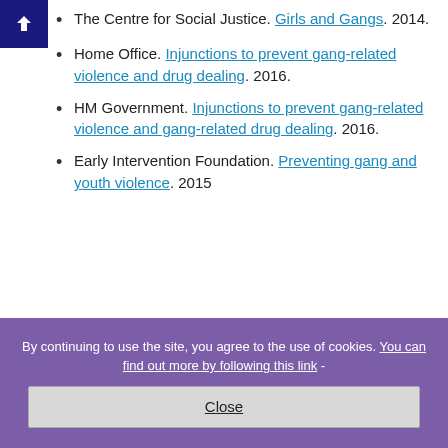The Centre for Social Justice. Girls and Gangs. 2014.
Home Office. Injunctions to prevent gang-related violence and drug dealing. 2016.
HM Government. Injunctions to prevent gang-related violence and gang-related drug dealing. 2016.
Early Intervention Foundation. Preventing gang and youth violence. 2015
By continuing to use the site, you agree to the use of cookies. You can find out more by following this link -
Close